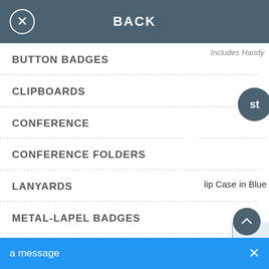BACK
Includes Handy
BUTTON BADGES
CLIPBOARDS
CONFERENCE
lip Case in Blue
CONFERENCE FOLDERS
LANYARDS
METAL-LAPEL BADGES
NAME BADGES
CONFERENCE & EXHIBITION
a message